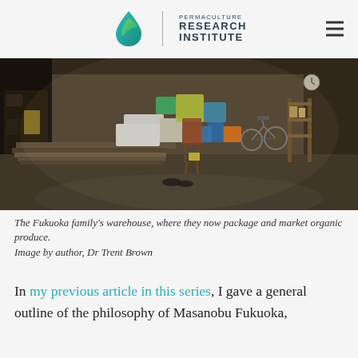PERMACULTURE RESEARCH INSTITUTE
[Figure (photo): Interior of the Fukuoka family's warehouse filled with boxes, crates, bicycles, and miscellaneous items on a concrete floor with high ceilings and dim lighting.]
The Fukuoka family's warehouse, where they now package and market organic produce.
Image by author, Dr Trent Brown
In my previous article in this series, I gave a general outline of the philosophy of Masanobu Fukuoka,